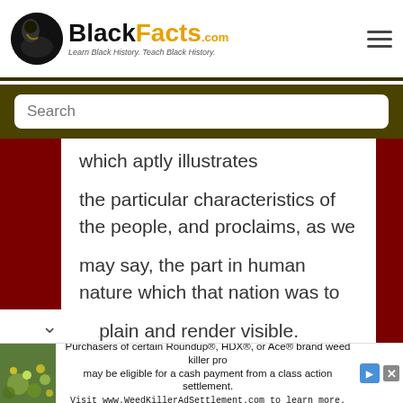BlackFacts.com — Learn Black History. Teach Black History.
Search
which aptly illustrates the particular characteristics of the people, and proclaims, as we may say, the part in human nature which that nation was to explain and render visible. Carrying on this idea to the history of our system, if the other worlds around us are peopled with
Purchasers of certain Roundup®, HDX®, or Ace® brand weed killer products may be eligible for a cash payment from a class action settlement. Visit www.WeedKillerAdSettlement.com to learn more.